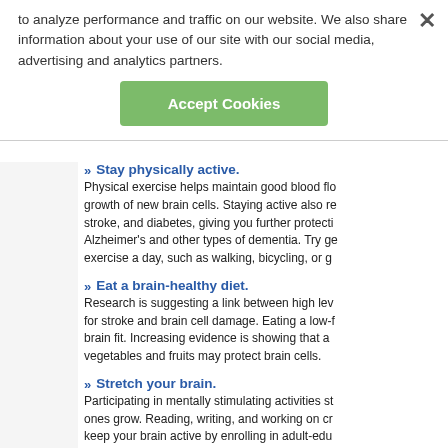to analyze performance and traffic on our website. We also share information about your use of our site with our social media, advertising and analytics partners.
Accept Cookies
Stay physically active. Physical exercise helps maintain good blood flow and growth of new brain cells. Staying active also reduces risk for stroke, and diabetes, giving you further protection against Alzheimer's and other types of dementia. Try getting 30 minutes exercise a day, such as walking, bicycling, or gardening.
Eat a brain-healthy diet. Research is suggesting a link between high levels of cholesterol for stroke and brain cell damage. Eating a low-fat diet can keep brain fit. Increasing evidence is showing that a diet rich in vegetables and fruits may protect brain cells.
Stretch your brain. Participating in mentally stimulating activities strengthens existing ones grow. Reading, writing, and working on crossword puzzles keep your brain active by enrolling in adult-education courses.
Sources:
Science Daily. "Larger Head Size May Protect Ag... 2010. Web.
www.sciencedaily.com/releases/2010/07/1007131...